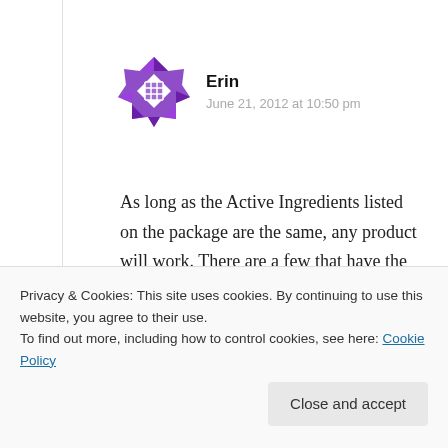[Figure (illustration): Purple geometric/quilt-pattern avatar icon for user Erin]
Erin
June 21, 2012 at 10:50 pm
As long as the Active Ingredients listed on the package are the same, any product will work. There are a few that have the exact same Active Ingredients: 250 Aspirin, 250 Acetaminophen, 65 Caffeine.
→ Reply
Privacy & Cookies: This site uses cookies. By continuing to use this website, you agree to their use.
To find out more, including how to control cookies, see here: Cookie Policy
Close and accept